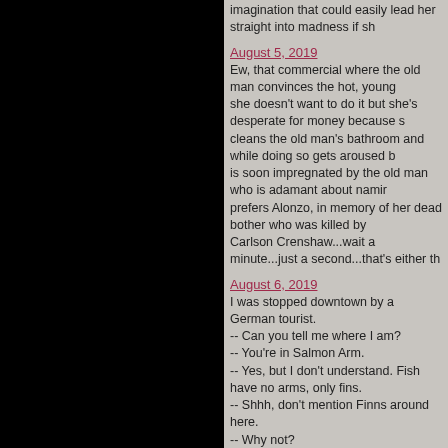imagination that could easily lead her straight into madness if sh
August 5, 2019
Ew, that commercial where the old man convinces the hot, young... she doesn't want to do it but she's desperate for money because s... cleans the old man's bathroom and while doing so gets aroused b... is soon impregnated by the old man who is adamant about namir... prefers Alonzo, in memory of her dead bother who was killed by... Carlson Crenshaw...wait a minute...just a second...that's either th
August 6, 2019
I was stopped downtown by a German tourist.
-- Can you tell me where I am?
-- You're in Salmon Arm.
-- Yes, but I don't understand. Fish have no arms, only fins.
-- Shhh, don't mention Finns around here.
-- Why not?
-- In 1650 a boat of rebel invaders from east Helsinki tried to tak... townspeople using the only thing they had - fish. Salmon to be p... were salmon armed. After the victory the town changed its name... not without controversy.
-- Why is that?
-- What do we locals call ourselves? Salmon Armites? Salmon A...
-- Hmm.
August 8, 2019
So
The orange goober